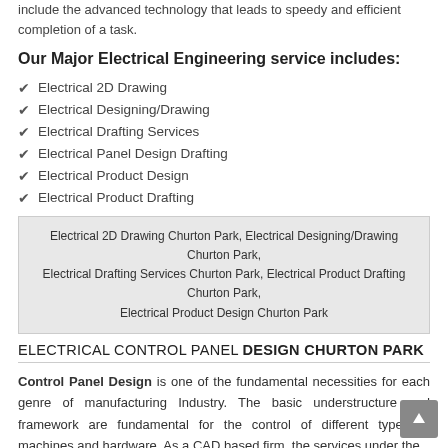include the advanced technology that leads to speedy and efficient completion of a task.
Our Major Electrical Engineering service includes:
Electrical 2D Drawing
Electrical Designing/Drawing
Electrical Drafting Services
Electrical Panel Design Drafting
Electrical Product Design
Electrical Product Drafting
Electrical 2D Drawing Churton Park, Electrical Designing/Drawing Churton Park, Electrical Drafting Services Churton Park, Electrical Product Drafting Churton Park, Electrical Product Design Churton Park
ELECTRICAL CONTROL PANEL DESIGN CHURTON PARK
Control Panel Design is one of the fundamental necessities for each genre of manufacturing Industry. The basic understructure and framework are fundamental for the control of different types of machines and hardware. As a CAD based firm, the services under the